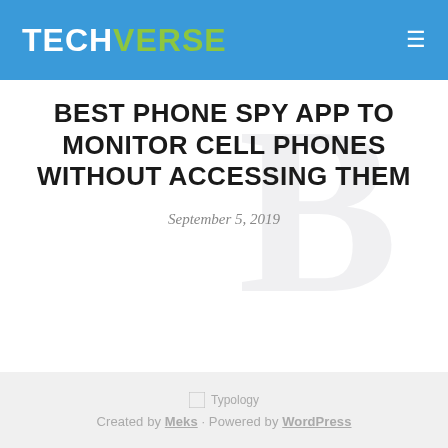TECHVERSE
BEST PHONE SPY APP TO MONITOR CELL PHONES WITHOUT ACCESSING THEM
September 5, 2019
[Figure (logo): Typology logo placeholder image]
Created by Meks · Powered by WordPress
< To Top >